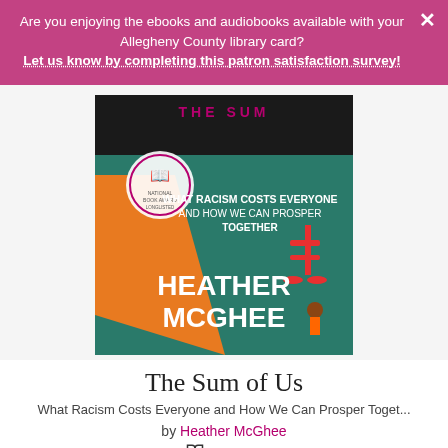Are you enjoying the ebooks and audiobooks available with your Allegheny County library card? Let us know by completing this patron satisfaction survey!
[Figure (illustration): Book cover of 'The Sum of Us: What Racism Costs Everyone and How We Can Prosper Together' by Heather McGhee. Teal/green background with orange diagonal stripe, red rocking chair. National Book Award longlisted seal visible.]
The Sum of Us
What Racism Costs Everyone and How We Can Prosper Toget...
by Heather McGhee
EBOOK